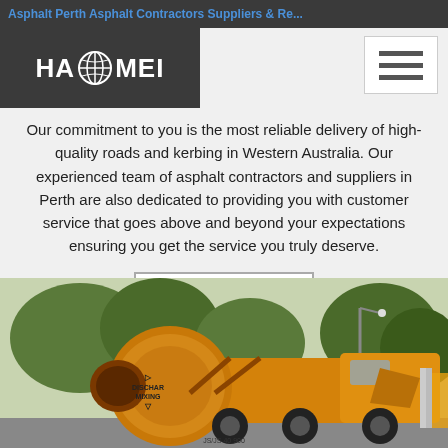Asphalt Perth Asphalt Contractors Suppliers & Re...
[Figure (logo): HAOMEI company logo with globe icon on dark background]
Our commitment to you is the most reliable delivery of high-quality roads and kerbing in Western Australia. Our experienced team of asphalt contractors and suppliers in Perth are also dedicated to providing you with customer service that goes above and beyond your expectations ensuring you get the service you truly deserve.
Get Price
[Figure (photo): Yellow concrete mixer truck with 'DISCHAR MIXING' label on drum, parked outdoors with trees in background]